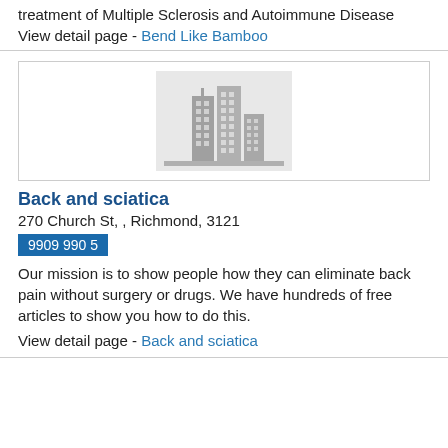treatment of Multiple Sclerosis and Autoimmune Disease
View detail page - Bend Like Bamboo
[Figure (illustration): Placeholder image showing grey city buildings silhouette on light grey background]
Back and sciatica
270 Church St, , Richmond, 3121
9909 990 5
Our mission is to show people how they can eliminate back pain without surgery or drugs. We have hundreds of free articles to show you how to do this.
View detail page - Back and sciatica